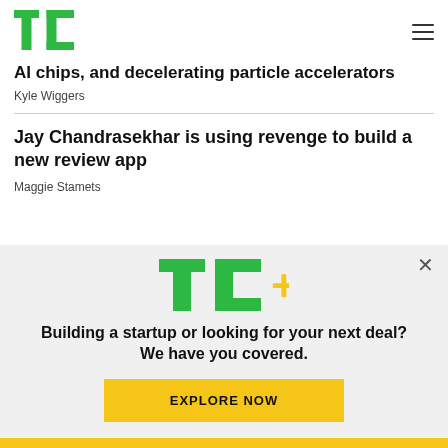TechCrunch logo and navigation
AI chips, and decelerating particle accelerators
Kyle Wiggers
Jay Chandrasekhar is using revenge to build a new review app
Maggie Stamets
[Figure (logo): TechCrunch TC+ logo in green with gold plus sign]
Building a startup or looking for your next deal? We have you covered.
EXPLORE NOW